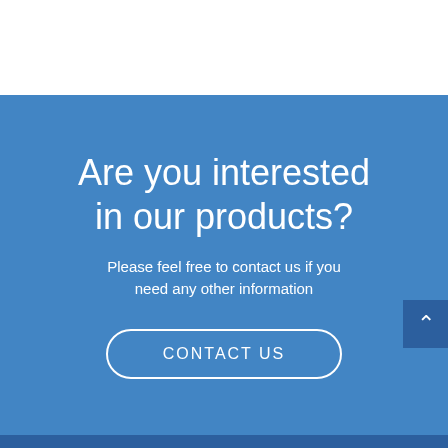Are you interested in our products?
Please feel free to contact us if you need any other information
CONTACT US